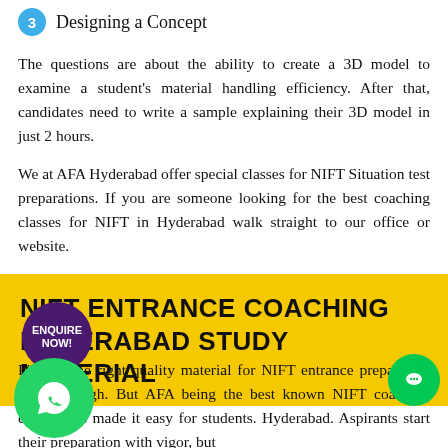3  Designing a Concept
The questions are about the ability to create a 3D model to examine a student's material handling efficiency. After that, candidates need to write a sample explaining their 3D model in just 2 hours.
We at AFA Hyderabad offer special classes for NIFT Situation test preparations. If you are someone looking for the best coaching classes for NIFT in Hyderabad walk straight to our office or website.
NIFT ENTRANCE COACHING HYDERABAD STUDY MATERIAL
Finding the right quality material for NIFT entrance preparation can be tough. But AFA being the best known NIFT coaching classes has made it easy for students. Hyderabad. Aspirants start their preparation with vigor, but